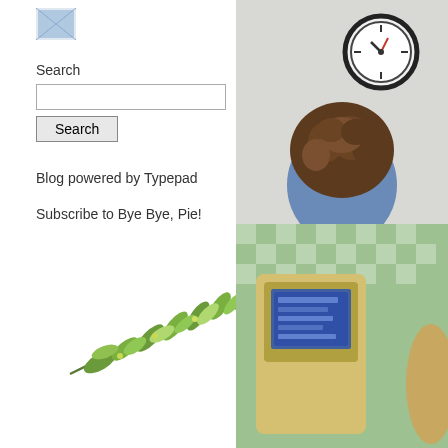[Figure (logo): Small blog logo image top left]
Search
Search (input box and button)
Blog powered by Typepad
Subscribe to Bye Bye, Pie!
[Figure (illustration): Olive branch / green leaf sprig decoration]
[Figure (photo): Photo of person seen from behind with curly brown hair wearing blue shirt, wall clock visible above]
[Figure (photo): Photo of what appears to be a yellow/tan object with digital display, green checkered fabric in background]